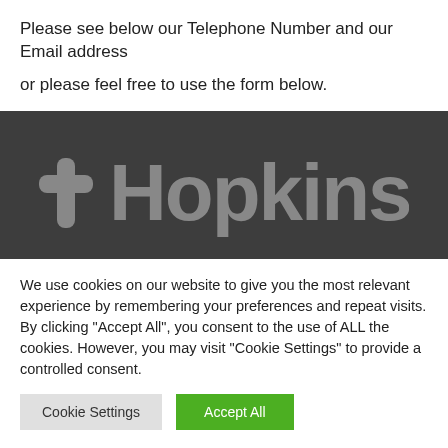Please see below our Telephone Number and our Email address

or please feel free to use the form below.
[Figure (logo): Hopkins logo on dark grey background. A cross/plus symbol followed by the word 'Hopkins' in large grey rounded letters.]
We use cookies on our website to give you the most relevant experience by remembering your preferences and repeat visits. By clicking "Accept All", you consent to the use of ALL the cookies. However, you may visit "Cookie Settings" to provide a controlled consent.
Cookie Settings | Accept All